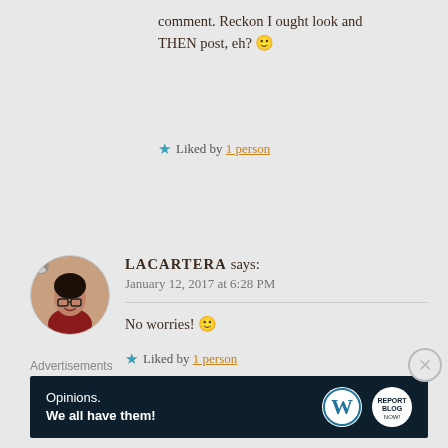comment. Reckon I ought look and THEN post, eh? 🙂
★ Liked by 1 person
LACARTERA says: January 12, 2017 at 6:28 PM
No worries! 🙂
★ Liked by 1 person
Advertisements
[Figure (screenshot): Advertisement banner with dark navy background. Text: 'Opinions. We all have them!' with WordPress logo and another circular logo on the right.]